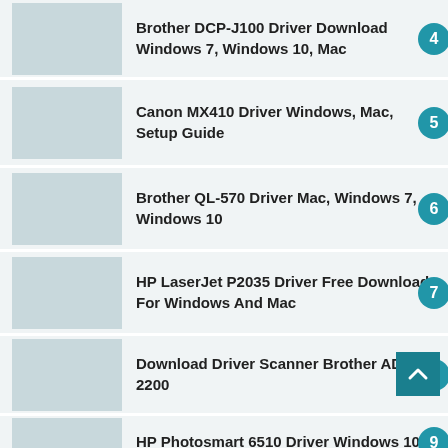Brother DCP-J100 Driver Download Windows 7, Windows 10, Mac
Canon MX410 Driver Windows, Mac, Setup Guide
Brother QL-570 Driver Mac, Windows 7, Windows 10
HP LaserJet P2035 Driver Free Download For Windows And Mac
Download Driver Scanner Brother ADS 2200
HP Photosmart 6510 Driver Windows 10,